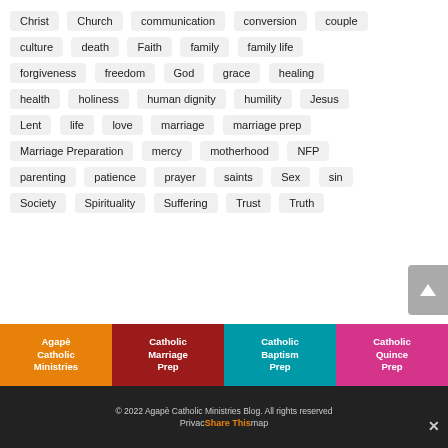Christ
Church
communication
conversion
couple
culture
death
Faith
family
family life
forgiveness
freedom
God
grace
healing
health
holiness
human dignity
humility
Jesus
Lent
life
love
marriage
marriage prep
Marriage Preparation
mercy
motherhood
NFP
parenting
patience
prayer
saints
Sex
sin
Society
Spirituality
Suffering
Trust
Truth
Agapè Catholic Ministries | Catholic Marriage Prep | Catholic Baptism Prep | Catholic Quince Prep
© 2022 Agapè Catholic Ministries Blog. All rights reserved
Privacy Policy / Sitemap
Share This